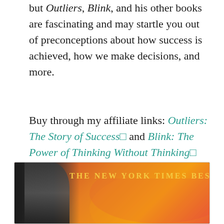but Outliers, Blink, and his other books are fascinating and may startle you out of preconceptions about how success is achieved, how we make decisions, and more.
Buy through my affiliate links: Outliers: The Story of Success and Blink: The Power of Thinking Without Thinking
[Figure (photo): Book cover image showing a person on the left against a dark background, and an orange/red gradient background on the right with text 'THE NEW YORK TIMES BESTSELLER' in gold lettering]